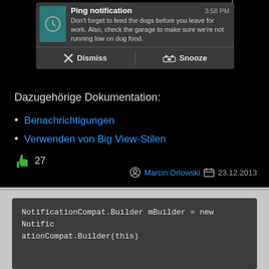[Figure (screenshot): Android notification screenshot showing 'Ping notification' at 3:58 PM with message about feeding dogs, and Dismiss/Snooze action buttons]
Dazugehörige Dokumentation:
Benachrichtigungen
Verwenden von Big View-Stilen
27
Marcin Orlowski  23.12.2013
NotificationCompat.Builder mBuilder = new NotificationCompat.Builder(this)